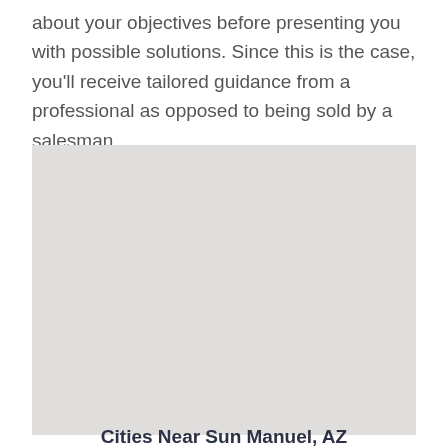about your objectives before presenting you with possible solutions. Since this is the case, you'll receive tailored guidance from a professional as opposed to being sold by a salesman.
[Figure (map): A light grey map placeholder image]
Cities Near Sun Manuel, AZ